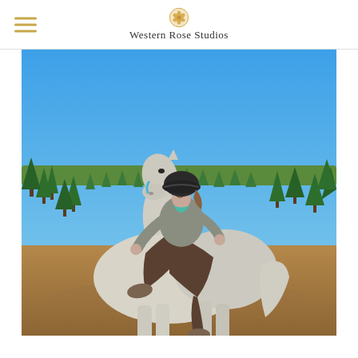Western Rose Studios
[Figure (photo): A woman wearing a black riding helmet and gray jacket sitting on a white/gray horse in a field with rows of small evergreen trees (Christmas tree farm) under a clear blue sky. The horse has a blue halter/lead rope.]